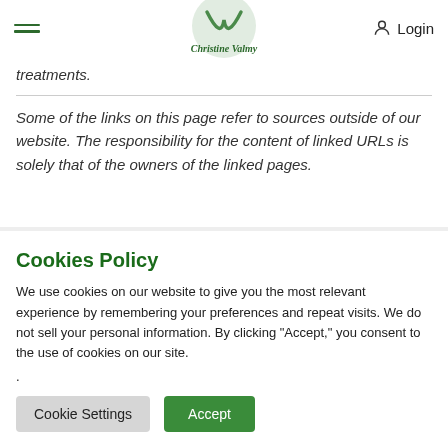Christine Valmy — Login
treatments.
Some of the links on this page refer to sources outside of our website. The responsibility for the content of linked URLs is solely that of the owners of the linked pages.
Cookies Policy
We use cookies on our website to give you the most relevant experience by remembering your preferences and repeat visits. We do not sell your personal information. By clicking "Accept," you consent to the use of cookies on our site.
.